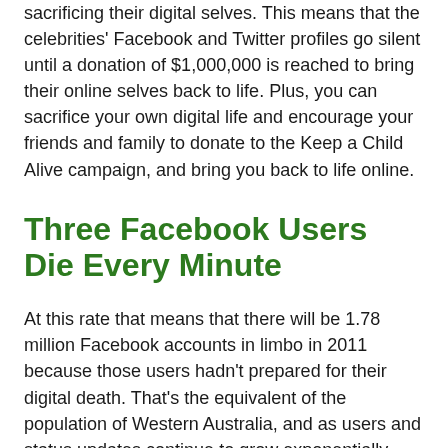sacrificing their digital selves. This means that the celebrities' Facebook and Twitter profiles go silent until a donation of $1,000,000 is reached to bring their online selves back to life. Plus, you can sacrifice your own digital life and encourage your friends and family to donate to the Keep a Child Alive campaign, and bring you back to life online.
Three Facebook Users Die Every Minute
At this rate that means that there will be 1.78 million Facebook accounts in limbo in 2011 because those users hadn't prepared for their digital death. That's the equivalent of the population of Western Australia, and as users and status updates continue to grow exponentially, how many deceased pages will there be in 10 years, how will Facebook and the probably non-tech savvy families of those people manage this...